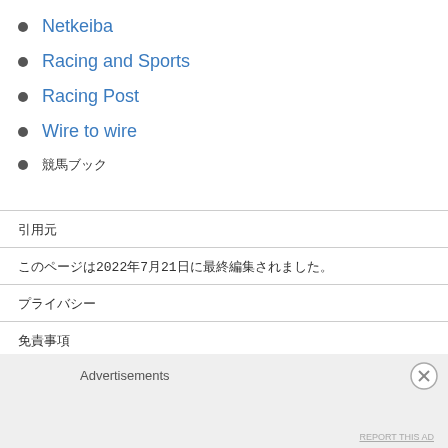Netkeiba
Racing and Sports
Racing Post
Wire to wire
競馬ブック
引用元
このページは2022年7月21日に最終編集されました。
プライバシー
免責事項
Advertisements